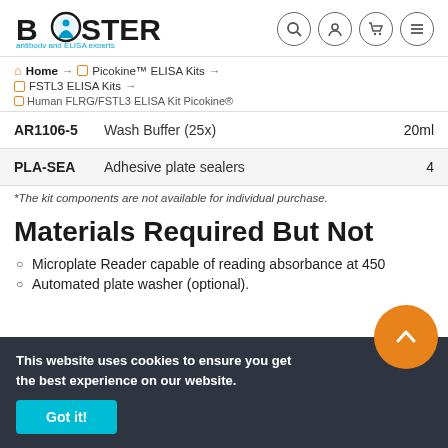BOSTER antibody and ELISA experts
Home → Picokine™ ELISA Kits → FSTL3 ELISA Kits → Human FLRG/FSTL3 ELISA Kit Picokine®
| Cat# | Description | Qty |
| --- | --- | --- |
| AR1106-5 | Wash Buffer (25x) | 20ml |
| PLA-SEA | Adhesive plate sealers | 4 |
*The kit components are not available for individual purchase.
Materials Required But Not Included
Microplate Reader capable of reading absorbance at 450
Automated plate washer (optional).
This website uses cookies to ensure you get the best experience on our website.